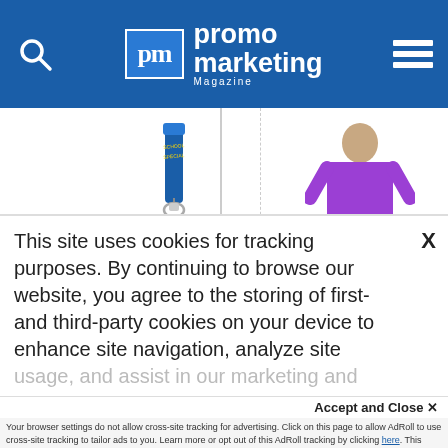promo marketing Magazine
[Figure (photo): AP Polyester Lanyards product photo - blue lanyard with clip]
AP Polyester Lanyards 3/4' x 36'
$0.69
[Figure (photo): Superblenda,- Poplin product photo - child in purple top]
Superblendâ,¯ Poplin
$25.98
[Figure (photo): Product photo - person (boy)]
[Figure (photo): Product photo - cup with colorful liquid]
This site uses cookies for tracking purposes. By continuing to browse our website, you agree to the storing of first- and third-party cookies on your device to enhance site navigation, analyze site usage, and assist in our marketing and
Accept and Close ✕
Your browser settings do not allow cross-site tracking for advertising. Click on this page to allow AdRoll to use cross-site tracking to tailor ads to you. Learn more or opt out of this AdRoll tracking by clicking here. This message only appears once.